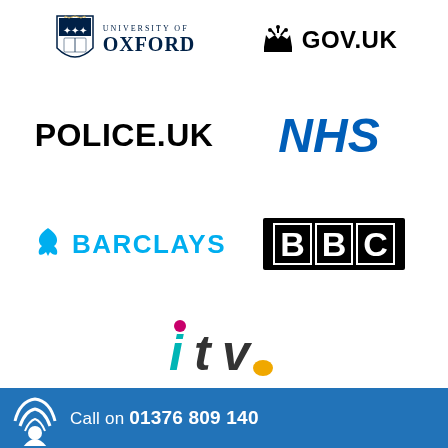[Figure (logo): University of Oxford logo with shield crest and text]
[Figure (logo): GOV.UK logo with crown icon]
[Figure (logo): POLICE.UK text logo]
[Figure (logo): NHS logo in blue italic bold text]
[Figure (logo): Barclays logo with eagle icon in teal/blue]
[Figure (logo): BBC logo with three white letters on black boxes]
[Figure (logo): ITV logo in teal, pink and yellow]
Call on 01376 809 140